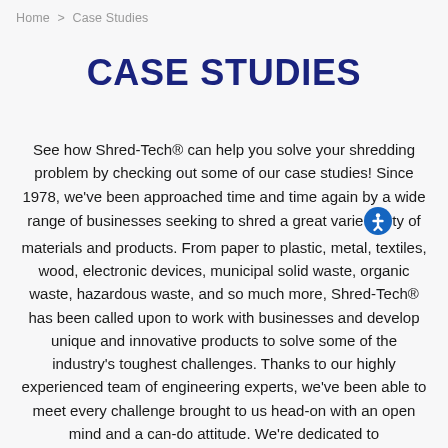Home > Case Studies
CASE STUDIES
See how Shred-Tech® can help you solve your shredding problem by checking out some of our case studies! Since 1978, we've been approached time and time again by a wide range of businesses seeking to shred a great variety of materials and products. From paper to plastic, metal, textiles, wood, electronic devices, municipal solid waste, organic waste, hazardous waste, and so much more, Shred-Tech® has been called upon to work with businesses and develop unique and innovative products to solve some of the industry's toughest challenges. Thanks to our highly experienced team of engineering experts, we've been able to meet every challenge brought to us head-on with an open mind and a can-do attitude. We're dedicated to